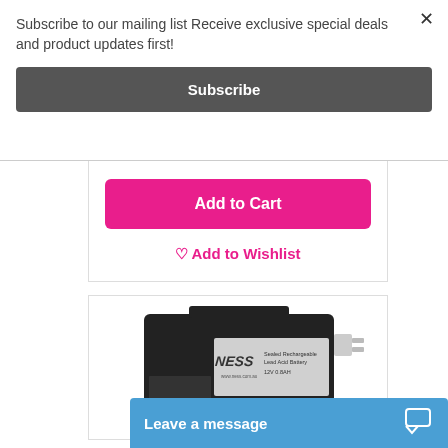Subscribe to our mailing list Receive exclusive special deals and product updates first!
Subscribe
Add to Cart
Add to Wishlist
[Figure (photo): NESS branded Sealed Rechargeable Lead Acid Battery 12V 0.8AH product photo]
Leave a message